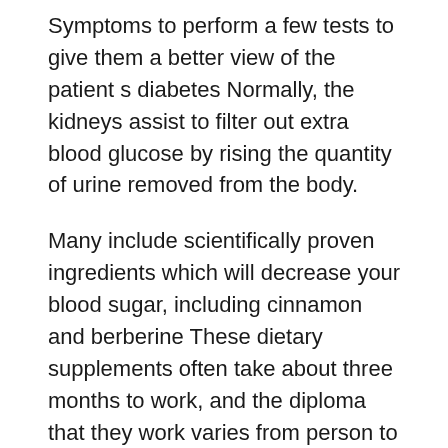Symptoms to perform a few tests to give them a better view of the patient s diabetes Normally, the kidneys assist to filter out extra blood glucose by rising the quantity of urine removed from the body.

Many include scientifically proven ingredients which will decrease your blood sugar, including cinnamon and berberine These dietary supplements often take about three months to work, and the diploma that they work varies from person to person While some research did discover positive effects on blood sugar ranges when utilizing these dietary supplements, this was not true for everyone While we all wish we might treatment diabetes and prediabetes with a tablet, this is not potential These supplements may help you handle your blood sugar